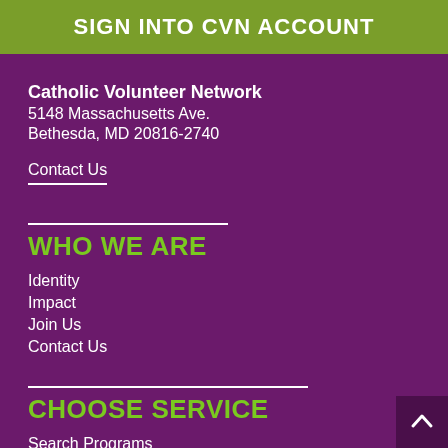SIGN INTO CVN ACCOUNT
Catholic Volunteer Network
5148 Massachusetts Ave.
Bethesda, MD 20816-2740
Contact Us
WHO WE ARE
Identity
Impact
Join Us
Contact Us
CHOOSE SERVICE
Search Programs